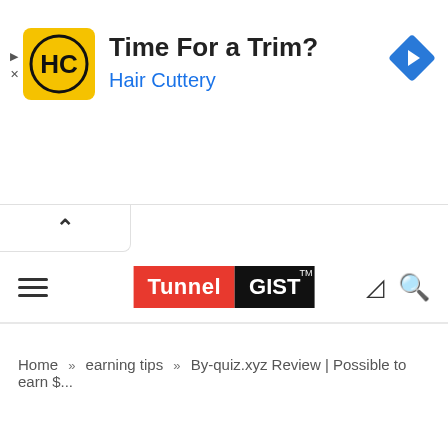[Figure (advertisement): Hair Cuttery ad banner with HC logo, text 'Time For a Trim?' and 'Hair Cuttery' in blue, and a blue diamond navigation arrow icon on the right]
[Figure (logo): TunnelGIST TM logo — 'Tunnel' on red background and 'GIST' on black background with TM superscript]
Home » earning tips » By-quiz.xyz Review | Possible to earn $...